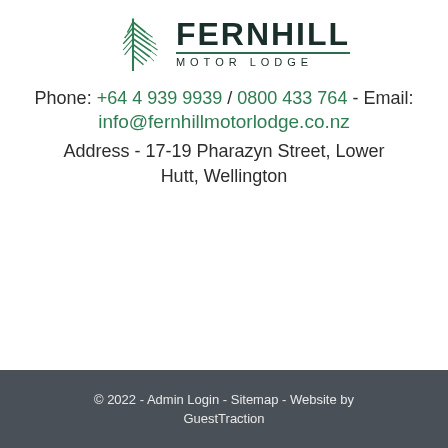[Figure (logo): Fernhill Motor Lodge logo with fern leaf icon and text FERNHILL MOTOR LODGE]
Phone: +64 4 939 9939 / 0800 433 764 - Email: info@fernhillmotorlodge.co.nz
Address - 17-19 Pharazyn Street, Lower Hutt, Wellington
© 2022 - Admin Login - Sitemap - Website by GuestTraction